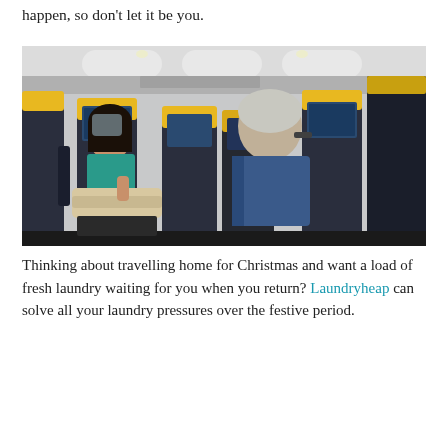happen, so don't let it be you.
[Figure (photo): Interior of an airplane cabin showing passengers seated. A woman in a teal top sits looking down at something, with a blanket on her lap. An older man in a blue denim jacket sits in the foreground facing away. The seats have yellow headrest covers, characteristic of a budget airline.]
Thinking about travelling home for Christmas and want a load of fresh laundry waiting for you when you return? Laundryheap can solve all your laundry pressures over the festive period.